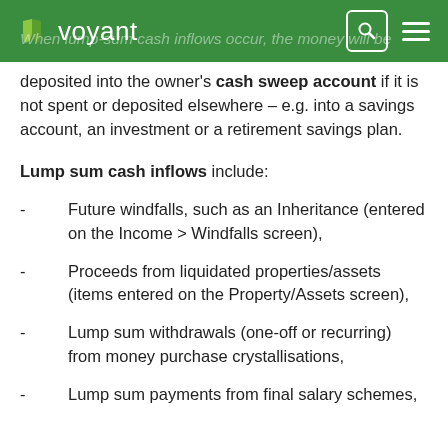voyant
deposited into the owner's cash sweep account if it is not spent or deposited elsewhere – e.g. into a savings account, an investment or a retirement savings plan.
Lump sum cash inflows include:
Future windfalls, such as an Inheritance (entered on the Income > Windfalls screen),
Proceeds from liquidated properties/assets (items entered on the Property/Assets screen),
Lump sum withdrawals (one-off or recurring) from money purchase crystallisations,
Lump sum payments from final salary schemes,